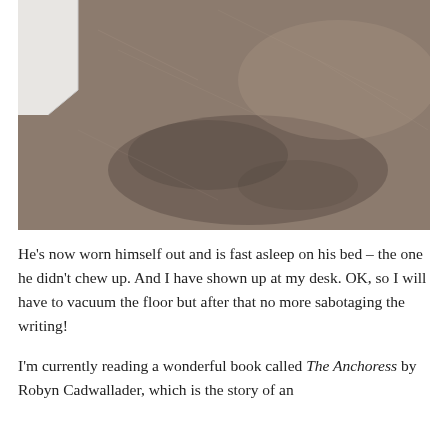[Figure (photo): A photograph of a beige/tan carpet floor, showing a worn or flattened area suggesting where something or someone has been lying. A white wall corner is visible at the top left.]
He's now worn himself out and is fast asleep on his bed – the one he didn't chew up. And I have shown up at my desk. OK, so I will have to vacuum the floor but after that no more sabotaging the writing!
I'm currently reading a wonderful book called The Anchoress by Robyn Cadwallader, which is the story of an